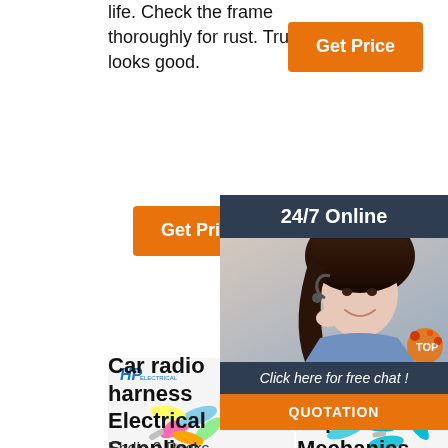life. Check the frame thoroughly for rust. Truck looks good.
[Figure (illustration): Orange 'Get Price' button top right]
[Figure (illustration): Orange 'Get Price' button left side]
[Figure (photo): 24/7 Online chat advertisement with customer service representative, 'Click here for free chat!' and QUOTATION button]
[Figure (photo): HP branded colorful electrical wire connectors/terminals product image (left)]
[Figure (photo): Blue electrical wire connectors scattered product image (center)]
[Figure (photo): HP branded yellow/gold electrical connectors product image (right, partially visible)]
Car radio harness Electrical Supplies
Ehdis 2 Packs
Repairing Electrical Wiring - Popular Mechanics
TE Connectivity Distributor
TE Connectivity (NYSE: TEL) is a